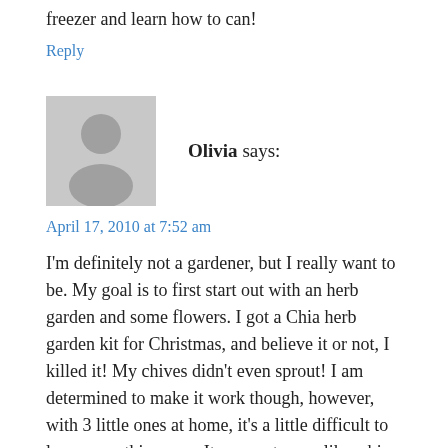freezer and learn how to can!
Reply
[Figure (illustration): Default grey avatar icon showing a generic person silhouette]
Olivia says:
April 17, 2010 at 7:52 am
I'm definitely not a gardener, but I really want to be. My goal is to first start out with an herb garden and some flowers. I got a Chia herb garden kit for Christmas, and believe it or not, I killed it! My chives didn't even sprout! I am determined to make it work though, however, with 3 little ones at home, it's a little difficult to learn something new. It may not seem like a big task to those that have done it, but tending to it is my challenge. I'm not even sure where to begin...I am